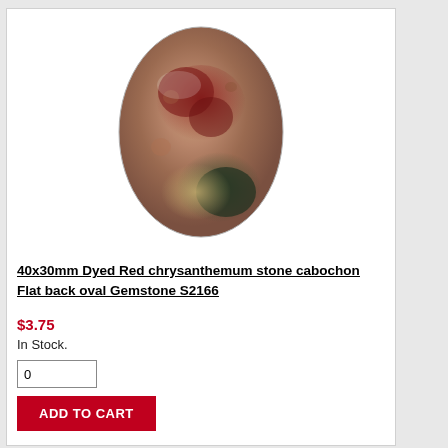[Figure (photo): Oval flat-back gemstone cabochon with reddish-brown, dark green, and tan mottled coloring on a white background]
40x30mm Dyed Red chrysanthemum stone cabochon Flat back oval Gemstone S2166
$3.75
In Stock.
0
ADD TO CART